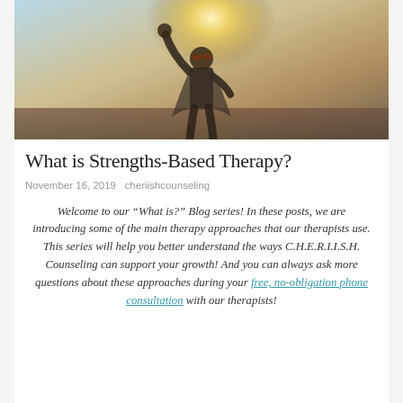[Figure (photo): A child wearing sunglasses and a cape, raising one fist triumphantly against a bright sky background — a hero pose.]
What is Strengths-Based Therapy?
November 16, 2019   cheriishcounseling
Welcome to our “What is?” Blog series! In these posts, we are introducing some of the main therapy approaches that our therapists use. This series will help you better understand the ways C.H.E.R.I.I.S.H. Counseling can support your growth! And you can always ask more questions about these approaches during your free, no-obligation phone consultation with our therapists!